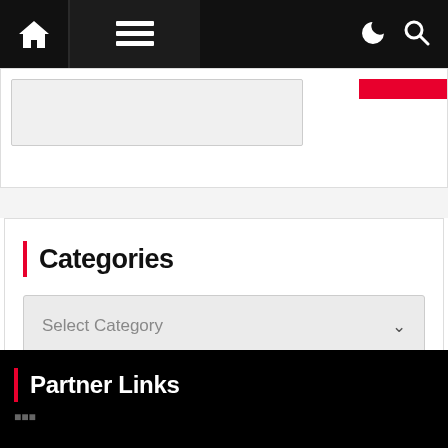Navigation bar with home icon, menu icon, dark mode icon, search icon
Categories
Select Category
Partner Links